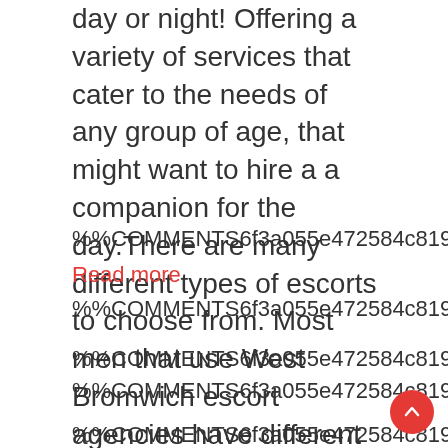day or night! Offering a variety of services that cater to the needs of any group of age, that might want to hire a a companion for the day.There are many different types of escorts to choose from. Most men that use West Bromwich escort agencies have different ...
Read In Full
%%COMMENTS6f3a055e472584c81914492c6b9
Read more
%%COMMENTS6f3a055e472584c81914492c6b9
%%COMMENTS6f3a055e472584c81914492c6b9
%%COMMENTS6f3a055e472584c81914492c6b9
%%COMMENTS6f3a055e472584c81914492c6b9